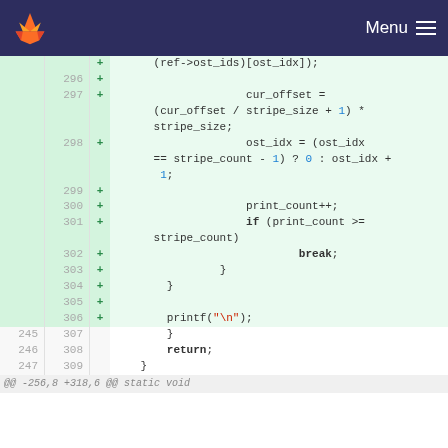Menu
[Figure (screenshot): GitLab code diff view showing added lines 296-306 (new) and neutral lines 307-309 (old 245-247), plus a partial separator line at the bottom, in a monospace diff viewer with green highlighted additions.]